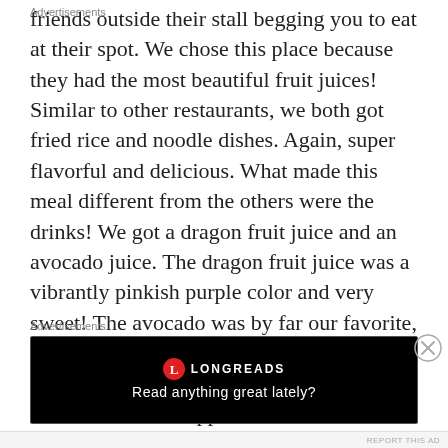friends outside their stall begging you to eat at their spot. We chose this place because they had the most beautiful fruit juices! Similar to other restaurants, we both got fried rice and noodle dishes. Again, super flavorful and delicious. What made this meal different from the others were the drinks! We got a dragon fruit juice and an avocado juice. The dragon fruit juice was a vibrantly pinkish purple color and very sweet! The avocado was by far our favorite, (you think Americans love avocado, think again! The Indonesians have us beat!) A little thicker and topped with chocolate. It was creamy and unexpectedly sweet, like a
Advertisements
[Figure (other): Longreads advertisement banner with black background, Longreads logo (red circle with L), and text 'Read anything great lately?']